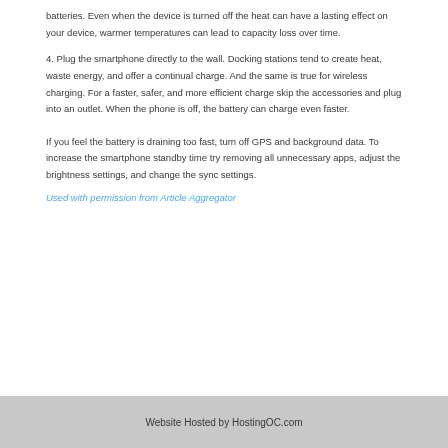batteries. Even when the device is turned off the heat can have a lasting effect on your device, warmer temperatures can lead to capacity loss over time.
4. Plug the smartphone directly to the wall. Docking stations tend to create heat, waste energy, and offer a continual charge. And the same is true for wireless charging. For a faster, safer, and more efficient charge skip the accessories and plug into an outlet. When the phone is off, the battery can charge even faster.
If you feel the battery is draining too fast, turn off GPS and background data. To increase the smartphone standby time try removing all unnecessary apps, adjust the brightness settings, and change the sync settings.
Used with permission from Article Aggregator
Website Hosted by HostingOC.com